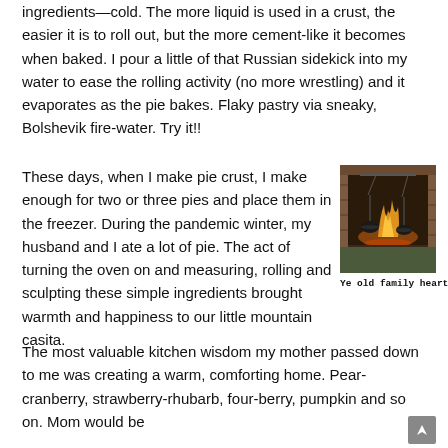ingredients—cold.  The more liquid is used in a crust, the easier it is to roll out, but the more cement-like it becomes when baked.  I pour a little of that Russian sidekick into my water to ease the rolling activity (no more wrestling) and it evaporates as the pie bakes.  Flaky pastry via sneaky, Bolshevik fire-water.  Try it!!
These days, when I make pie crust, I make enough for two or three pies and place them in the freezer.  During the pandemic winter, my husband and I ate a lot of pie.  The act of turning the oven on and measuring, rolling and sculpting these simple ingredients brought warmth and happiness to our little mountain casita.
[Figure (photo): A fireplace with an open wood fire, black iron pots hanging over the flames, brick surround, metal crane.]
Ye old family hearth
The most valuable kitchen wisdom my mother passed down to me was creating a warm, comforting home.   Pear-cranberry, strawberry-rhubarb, four-berry, pumpkin and so on.  Mom would be